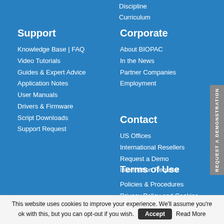Discipline
Curriculum
Support
Knowledge Base | FAQ
Video Tutorials
Guides & Expert Advice
Application Notes
User Manuals
Drivers & Firmware
Script Downloads
Support Request
Corporate
About BIOPAC
In the News
Partner Companies
Employment
Contact
US Offices
International Resellers
Request a Demo
Information Request
Terms of Use
Policies & Procedures
Privacy Policy and Cookies
Trademarks
REQUEST A DEMONSTRATION
This website uses cookies to improve your experience. We'll assume you're ok with this, but you can opt-out if you wish. Accept Read More